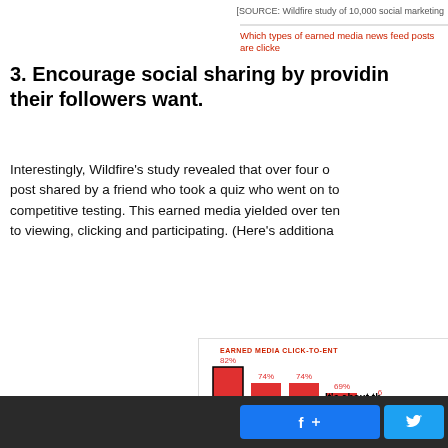[SOURCE: Wildfire study of 10,000 social marketing
Which types of earned media news feed posts are clicke
3. Encourage social sharing by providin their followers want.
Interestingly, Wildfire’s study revealed that over four o post shared by a friend who took a quiz who went on to competitive testing. This earned media yielded over ten to viewing, clicking and participating. (Here’s additiona
[Figure (bar-chart): EARNED MEDIA CLICK-TO-ENT]
Facebook share button / Twitter button